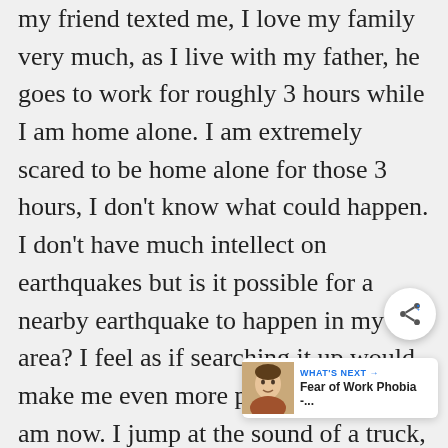my friend texted me, I love my family very much, as I live with my father, he goes to work for roughly 3 hours while I am home alone. I am extremely scared to be home alone for those 3 hours, I don't know what could happen. I don't have much intellect on earthquakes but is it possible for a nearby earthquake to happen in my area? I feel as if searching it up would make me even more paranoid than I am now. I jump at the sound of a truck, and I am also very scared of tornadoes ever since 5 sirens went off here, does anyone have any advice to help me calm down? I've been sleeping in pea... today, I just want to sleep again.